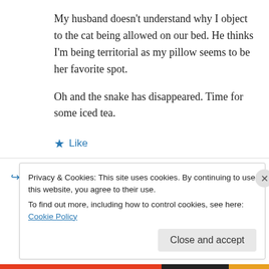My husband doesn't understand why I object to the cat being allowed on our bed. He thinks I'm being territorial as my pillow seems to be her favorite spot.

Oh and the snake has disappeared. Time for some iced tea.
★ Like
↪ Reply
Privacy & Cookies: This site uses cookies. By continuing to use this website, you agree to their use.
To find out more, including how to control cookies, see here: Cookie Policy
Close and accept